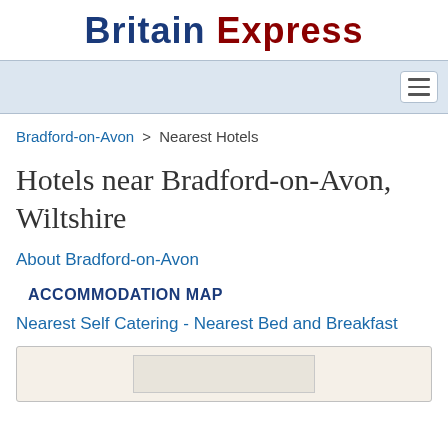Britain Express
[Figure (other): Navigation bar with hamburger menu button]
Bradford-on-Avon > Nearest Hotels
Hotels near Bradford-on-Avon, Wiltshire
About Bradford-on-Avon
ACCOMMODATION MAP
Nearest Self Catering - Nearest Bed and Breakfast
[Figure (map): Partial map box at bottom of page]